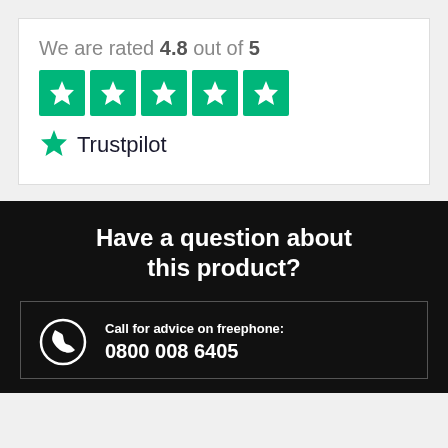We are rated 4.8 out of 5
[Figure (logo): Five green Trustpilot star rating boxes with white stars]
[Figure (logo): Trustpilot logo with green star and Trustpilot text]
Have a question about this product?
Call for advice on freephone: 0800 008 6405